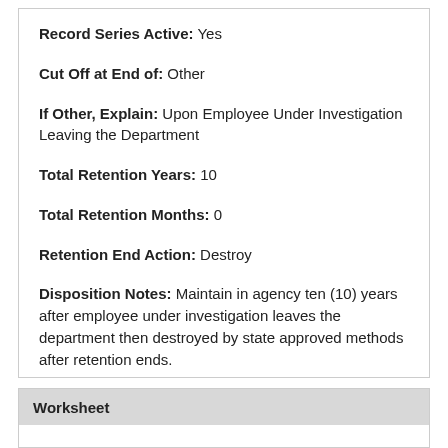Record Series Active: Yes
Cut Off at End of: Other
If Other, Explain: Upon Employee Under Investigation Leaving the Department
Total Retention Years: 10
Total Retention Months: 0
Retention End Action: Destroy
Disposition Notes: Maintain in agency ten (10) years after employee under investigation leaves the department then destroyed by state approved methods after retention ends.
Worksheet